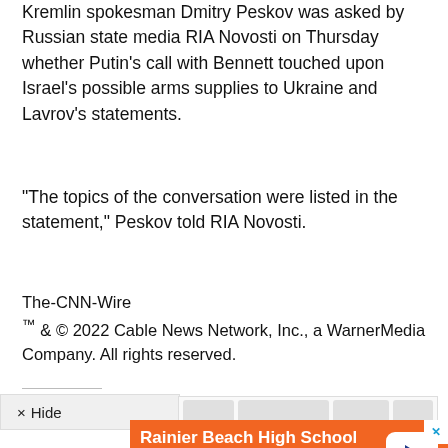Kremlin spokesman Dmitry Peskov was asked by Russian state media RIA Novosti on Thursday whether Putin's call with Bennett touched upon Israel's possible arms supplies to Ukraine and Lavrov's statements.
“The topics of the conversation were listed in the statement,” Peskov told RIA Novosti.
The-CNN-Wire
™ & © 2022 Cable News Network, Inc., a WarnerMedia Company. All rights reserved.
[Figure (screenshot): Advertisement banner for Rainier Beach High School Rebuild - Careers in Construction, by Lydig. Orange and dark blue background with play button.]